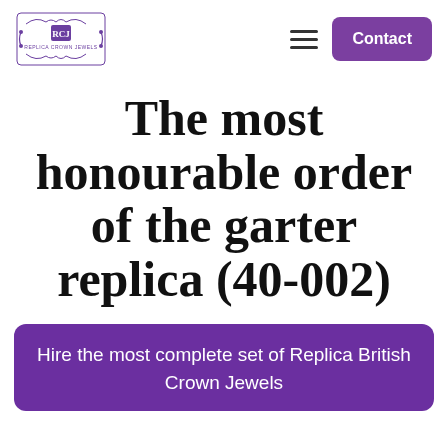[Figure (logo): Replica Crown Jewels logo with ornate crest and text]
The most honourable order of the garter replica (40-002)
Hire the most complete set of Replica British Crown Jewels